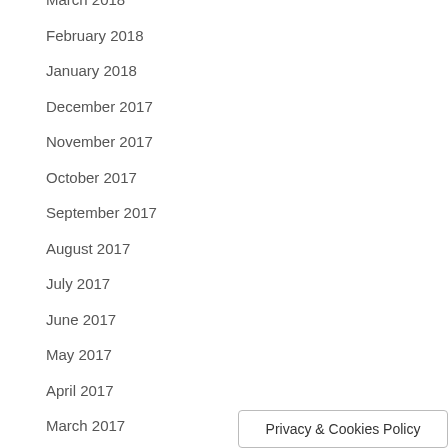March 2018
February 2018
January 2018
December 2017
November 2017
October 2017
September 2017
August 2017
July 2017
June 2017
May 2017
April 2017
March 2017
February 2017
January 2017
Privacy & Cookies Policy